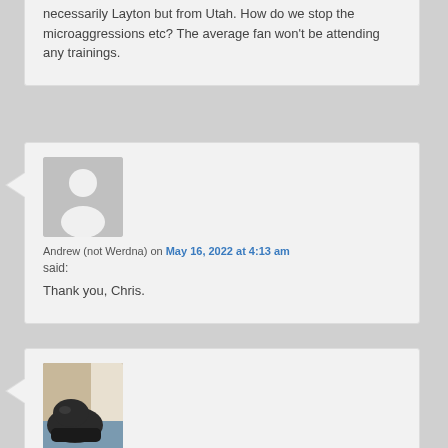necessarily Layton but from Utah. How do we stop the microaggressions etc? The average fan won't be attending any trainings.
[Figure (illustration): Generic avatar placeholder with grey background and white person silhouette icon]
Andrew (not Werdna) on May 16, 2022 at 4:13 am
said:
Thank you, Chris.
[Figure (photo): Photo of a dark cat sitting on a chair or surface, partially visible at bottom of page]